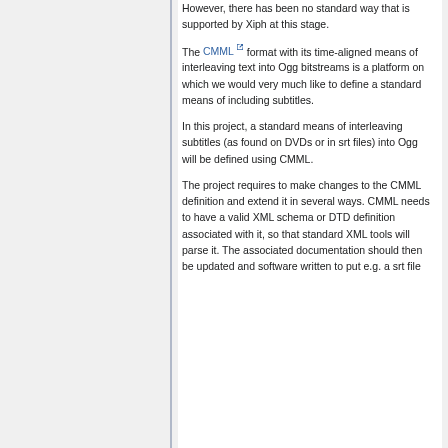However, there has been no standard way that is supported by Xiph at this stage.
The CMML format with its time-aligned means of interleaving text into Ogg bitstreams is a platform on which we would very much like to define a standard means of including subtitles.
In this project, a standard means of interleaving subtitles (as found on DVDs or in srt files) into Ogg will be defined using CMML.
The project requires to make changes to the CMML definition and extend it in several ways. CMML needs to have a valid XML schema or DTD definition associated with it, so that standard XML tools will parse it. The associated documentation should then be updated and software written to put e.g. a srt file